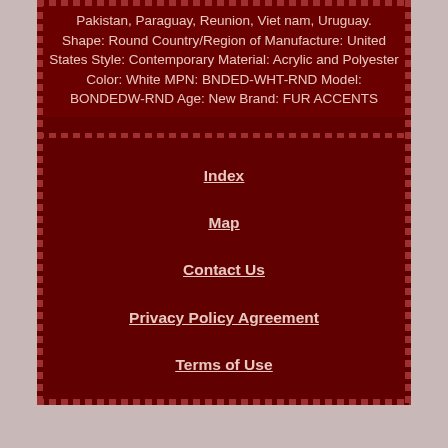Pakistan, Paraguay, Reunion, Viet nam, Uruguay. Shape: Round Country/Region of Manufacture: United States Style: Contemporary Material: Acrylic and Polyester Color: White MPN: BNDED-WHT-RND Model: BONDEDW-RND Age: New Brand: FUR ACCENTS
Index
Map
Contact Us
Privacy Policy Agreement
Terms of Use